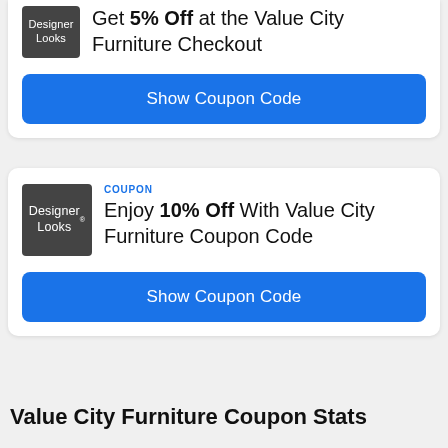[Figure (logo): Designer Looks logo on dark gray background, top card]
Get 5% Off at the Value City Furniture Checkout
Show Coupon Code
COUPON
[Figure (logo): Designer Looks logo on dark gray background, second card]
Enjoy 10% Off With Value City Furniture Coupon Code
Show Coupon Code
Value City Furniture Coupon Stats